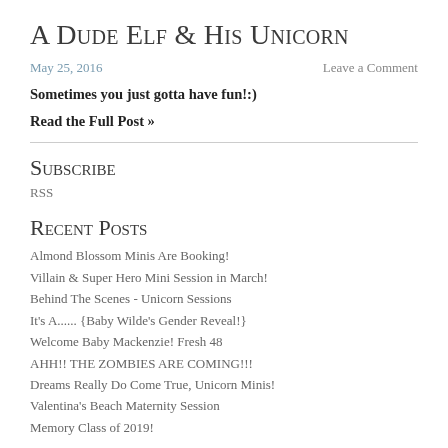A Dude Elf & His Unicorn
May 25, 2016    Leave a Comment
Sometimes you just gotta have fun!:)
Read the Full Post »
Subscribe
RSS
Recent Posts
Almond Blossom Minis Are Booking!
Villain & Super Hero Mini Session in March!
Behind The Scenes - Unicorn Sessions
It's A...... {Baby Wilde's Gender Reveal!}
Welcome Baby Mackenzie! Fresh 48
AHH!! THE ZOMBIES ARE COMING!!!
Dreams Really Do Come True, Unicorn Minis!
Valentina's Beach Maternity Session
Memory Class of 2019!